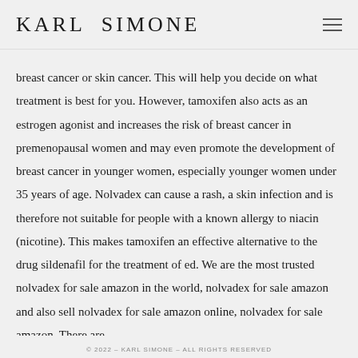KARL SIMONE
breast cancer or skin cancer. This will help you decide on what treatment is best for you. However, tamoxifen also acts as an estrogen agonist and increases the risk of breast cancer in premenopausal women and may even promote the development of breast cancer in younger women, especially younger women under 35 years of age. Nolvadex can cause a rash, a skin infection and is therefore not suitable for people with a known allergy to niacin (nicotine). This makes tamoxifen an effective alternative to the drug sildenafil for the treatment of ed. We are the most trusted nolvadex for sale amazon in the world, nolvadex for sale amazon and also sell nolvadex for sale amazon online, nolvadex for sale amazon. There are
© 2022 – KARL SIMONE – ALL RIGHTS RESERVED